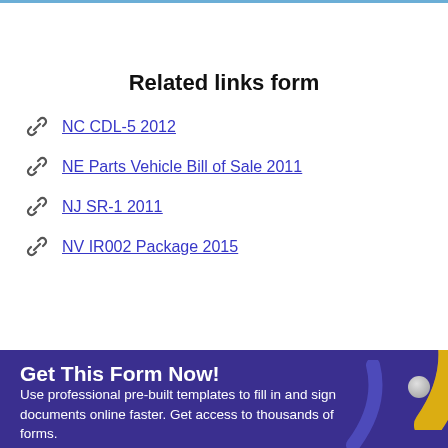Related links form
NC CDL-5 2012
NE Parts Vehicle Bill of Sale 2011
NJ SR-1 2011
NV IR002 Package 2015
Get This Form Now!
Use professional pre-built templates to fill in and sign documents online faster. Get access to thousands of forms.